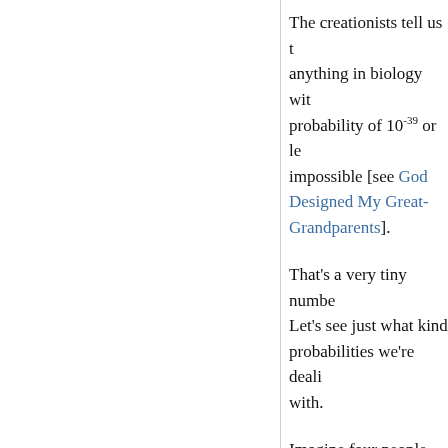The creationists tell us that anything in biology with a probability of 10^-39 or less is impossible [see God Designed My Great-Grandparents].
That's a very tiny number. Let's see just what kind of probabilities we're dealing with.
Imagine four people sitting down to play a hand of bridge. They shuffle the and deal out 13 cards to player. The probability t the particular hand woul dealt is very low becaus